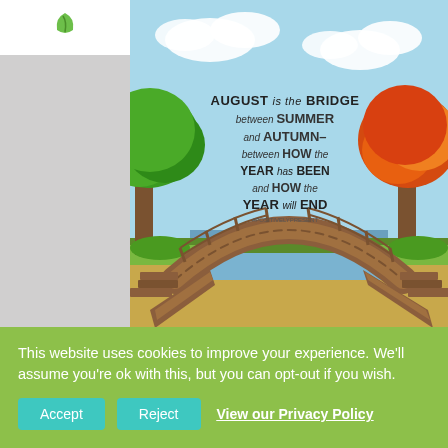[Figure (illustration): Colorful illustrated image showing a wooden arched bridge over water, with green trees on the left and orange/red autumn trees on the right, blue sky with clouds. Text on image reads: AUGUST is the BRIDGE between SUMMER and AUTUMN- between HOW the YEAR has BEEN and HOW the YEAR will END]
SOURCE: Facebook
This website uses cookies to improve your experience. We'll assume you're ok with this, but you can opt-out if you wish.
Accept  Reject  View our Privacy Policy